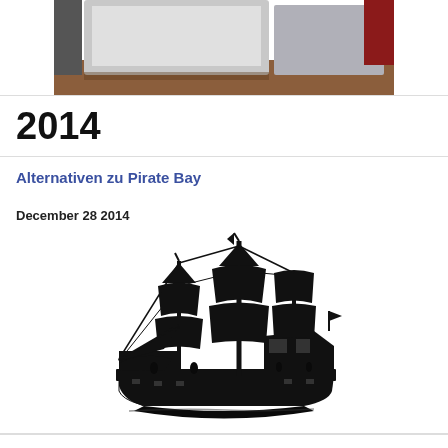[Figure (photo): Partial photo of a computer/monitor setup on a desk, cropped at top of page]
2014
Alternativen zu Pirate Bay
December 28 2014
[Figure (illustration): Black silhouette illustration of a tall sailing pirate ship with multiple masts and sails]
Beliebte Torrent-Sites ändern Domain-Namen